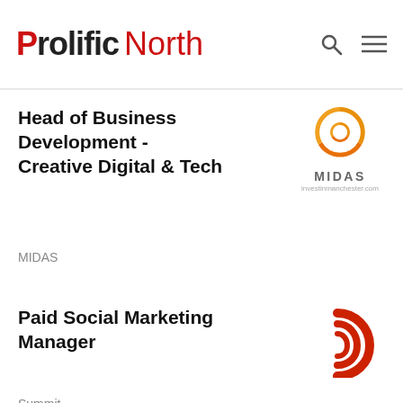Prolific North
Head of Business Development - Creative Digital & Tech
MIDAS
[Figure (logo): MIDAS investinmanchester.com logo with orange swirl]
Paid Social Marketing Manager
Summit
[Figure (logo): Summit red spiral logo]
See all jobs
WS
This site uses cookies
By continuing to browse, you accept our use of cookies.
Read our Privacy Po
I agree
appoints agency for nal search success"
[Figure (other): Red rectangle thumbnail for news article]